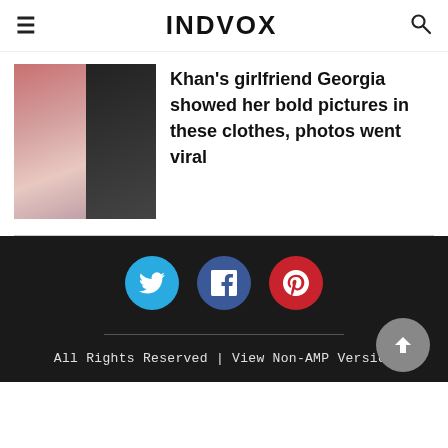INDVOX
Khan's girlfriend Georgia showed her bold pictures in these clothes, photos went viral
All Rights Reserved | View Non-AMP Version